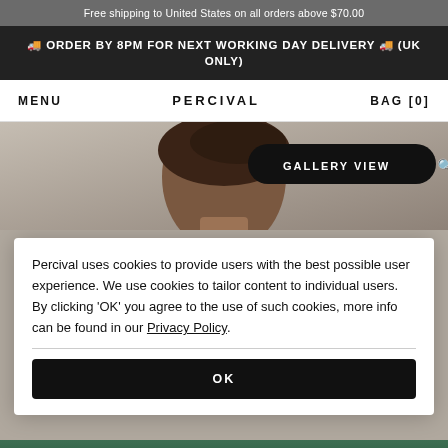Free shipping to United States on all orders above $70.00
🚚 ORDER BY 8PM FOR NEXT WORKING DAY DELIVERY 🚚 (UK ONLY)
MENU   PERCIVAL   BAG [0]
[Figure (photo): Hero image showing a man with dark hair against a concrete/grey background, with a Gallery View button overlay in the top right]
Percival uses cookies to provide users with the best possible user experience. We use cookies to tailor content to individual users. By clicking 'OK' you agree to the use of such cookies, more info can be found in our Privacy Policy.
OK